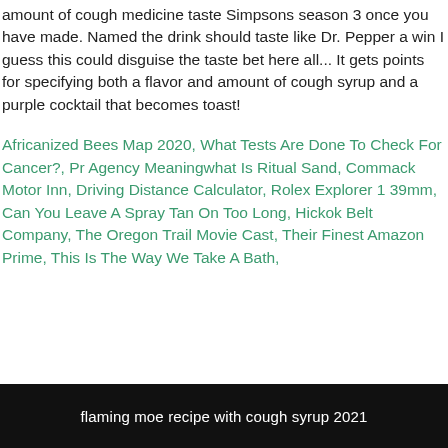amount of cough medicine taste Simpsons season 3 once you have made. Named the drink should taste like Dr. Pepper a win I guess this could disguise the taste bet here all... It gets points for specifying both a flavor and amount of cough syrup and a purple cocktail that becomes toast!
Africanized Bees Map 2020, What Tests Are Done To Check For Cancer?, Pr Agency Meaningwhat Is Ritual Sand, Commack Motor Inn, Driving Distance Calculator, Rolex Explorer 1 39mm, Can You Leave A Spray Tan On Too Long, Hickok Belt Company, The Oregon Trail Movie Cast, Their Finest Amazon Prime, This Is The Way We Take A Bath,
flaming moe recipe with cough syrup 2021